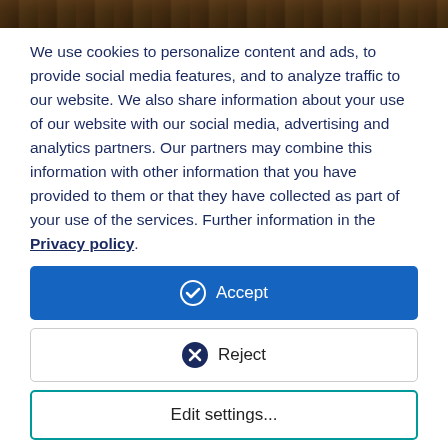[Figure (photo): Partial view of a library or bookstore shelf, dark brown tones, partial top strip]
We use cookies to personalize content and ads, to provide social media features, and to analyze traffic to our website. We also share information about your use of our website with our social media, advertising and analytics partners. Our partners may combine this information with other information that you have provided to them or that they have collected as part of your use of the services. Further information in the Privacy policy.
Accept
Reject
Edit settings...